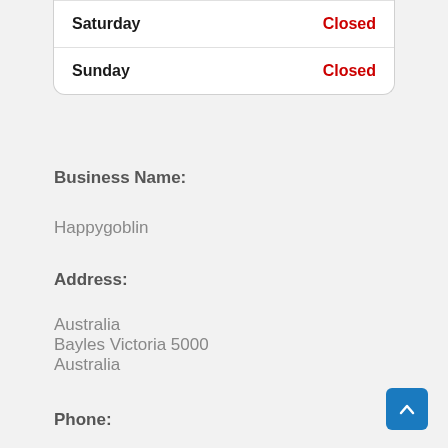| Day | Status |
| --- | --- |
| Saturday | Closed |
| Sunday | Closed |
Business Name:
Happygoblin
Address:
Australia
Bayles Victoria 5000
Australia
Phone: